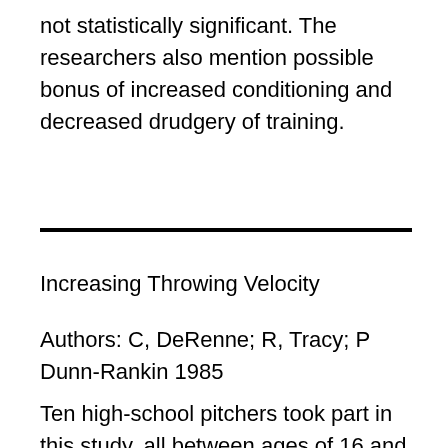not statistically significant. The researchers also mention possible bonus of increased conditioning and decreased drudgery of training.
Increasing Throwing Velocity
Authors: C, DeRenne; R, Tracy; P Dunn-Rankin 1985
Ten high-school pitchers took part in this study, all between ages of 16 and 18. They were split